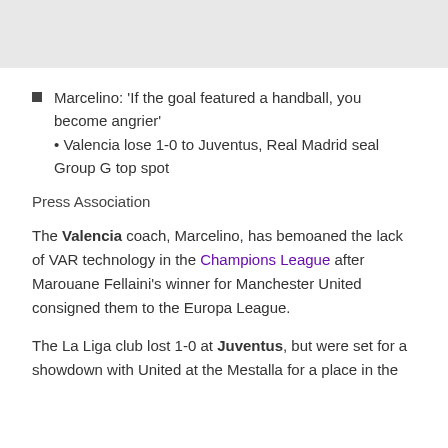[Figure (photo): Image placeholder at top of page]
Marcelino: 'If the goal featured a handball, you become angrier'
• Valencia lose 1-0 to Juventus, Real Madrid seal Group G top spot
Press Association
The Valencia coach, Marcelino, has bemoaned the lack of VAR technology in the Champions League after Marouane Fellaini's winner for Manchester United consigned them to the Europa League.
The La Liga club lost 1-0 at Juventus, but were set for a showdown with United at the Mestalla for a place in the